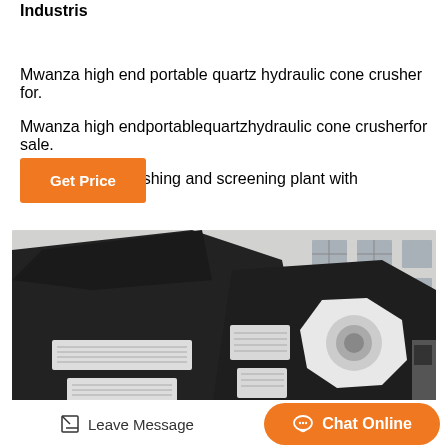Industris
Mwanza high end portable quartz hydraulic cone crusher for.
Mwanza high endportablequartzhydraulic cone crusherfor sale.
Closed circuit crushing and screening plant with RCMVP380…
[Figure (other): Orange 'Get Price' button]
[Figure (photo): Industrial cone crusher machine parked outside a large factory building. The machine is black with white panels and a large circular white component on the right side.]
Leave Message   Chat Online